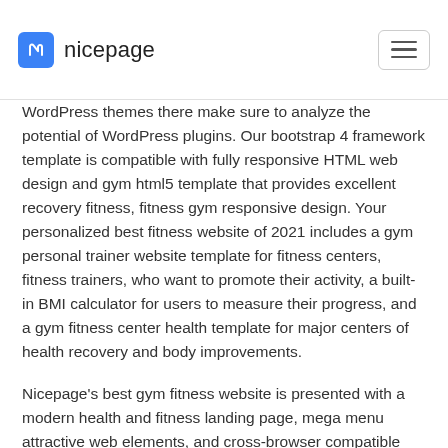nicepage
WordPress themes there make sure to analyze the potential of WordPress plugins. Our bootstrap 4 framework template is compatible with fully responsive HTML web design and gym html5 template that provides excellent recovery fitness, fitness gym responsive design. Your personalized best fitness website of 2021 includes a gym personal trainer website template for fitness centers, fitness trainers, who want to promote their activity, a built-in BMI calculator for users to measure their progress, and a gym fitness center health template for major centers of health recovery and body improvements.
Nicepage's best gym fitness website is presented with a modern health and fitness landing page, mega menu attractive web elements, and cross-browser compatible Bootstrap 4 website presets. To create the best one-page gym website template you need to use a responsive gym fitness WordPress template that fuels the best free WordPress themes. Create CrossFit gym website web presence by using gyms fitness centers, gym sports